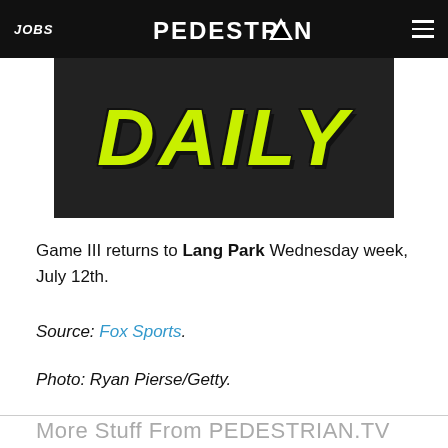JOBS | PEDESTRIAN | [menu]
[Figure (photo): Dark background image showing the word DAILY in large neon yellow/green bold italic text, part of a logo or graphic.]
Game III returns to Lang Park Wednesday week, July 12th.
Source: Fox Sports.
Photo: Ryan Pierse/Getty.
More Stuff From PEDESTRIAN.TV